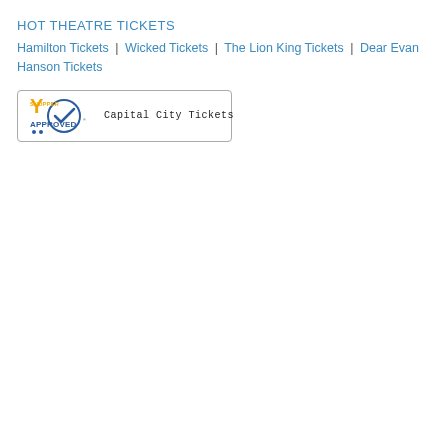HOT THEATRE TICKETS
Hamilton Tickets | Wicked Tickets | The Lion King Tickets | Dear Evan Hanson Tickets
[Figure (logo): Shopper Approved badge with Capital City Tickets text]